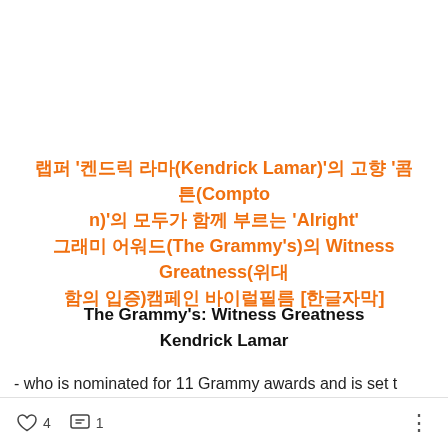랩퍼 '켄드릭 라마(Kendrick Lamar)'의 고향 '콤튼(Compton)'의 모두가 함께 부르는 'Alright' 그래미 어워드(The Grammy's)의 Witness Greatness(위대함의 입증)캠페인 바이럴필름 [한글자막]
The Grammy's: Witness Greatness
Kendrick Lamar
- who is nominated for 11 Grammy awards and is set t